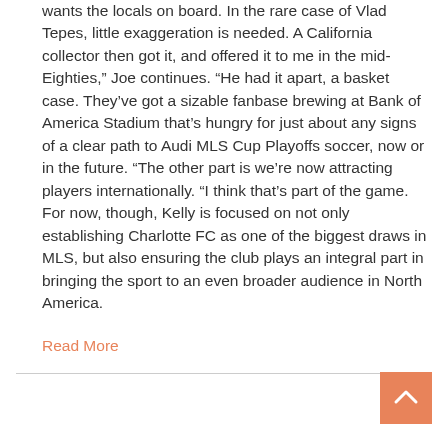wants the locals on board. In the rare case of Vlad Tepes, little exaggeration is needed. A California collector then got it, and offered it to me in the mid-Eighties," Joe continues. "He had it apart, a basket case. They've got a sizable fanbase brewing at Bank of America Stadium that's hungry for just about any signs of a clear path to Audi MLS Cup Playoffs soccer, now or in the future. "The other part is we're now attracting players internationally. "I think that's part of the game.
For now, though, Kelly is focused on not only establishing Charlotte FC as one of the biggest draws in MLS, but also ensuring the club plays an integral part in bringing the sport to an even broader audience in North America.
Read More